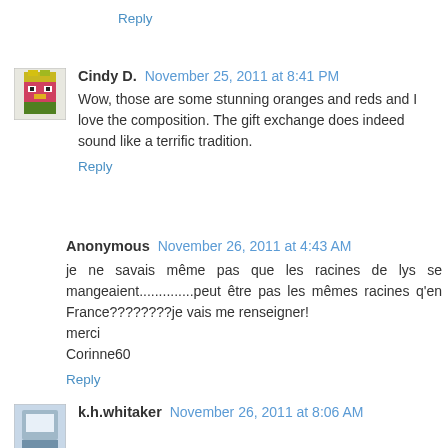Reply
Cindy D. November 25, 2011 at 8:41 PM
Wow, those are some stunning oranges and reds and I love the composition. The gift exchange does indeed sound like a terrific tradition.
Reply
Anonymous November 26, 2011 at 4:43 AM
je ne savais même pas que les racines de lys se mangeaient..............peut être pas les mêmes racines q'en France????????je vais me renseigner!
merci
Corinne60
Reply
k.h.whitaker November 26, 2011 at 8:06 AM